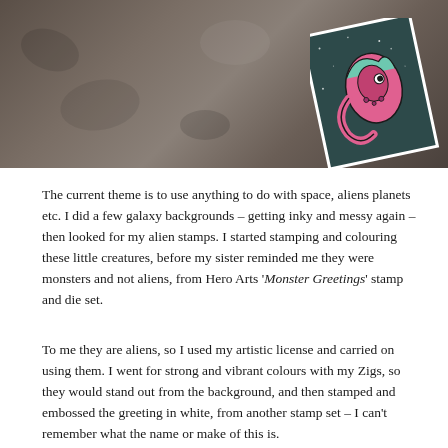[Figure (photo): Photo of a craft card with a galaxy/dark teal background featuring a pink and green alien/monster creature, tilted at an angle on a stone surface]
The current theme is to use anything to do with space, aliens planets etc. I did a few galaxy backgrounds – getting inky and messy again – then looked for my alien stamps. I started stamping and colouring these little creatures, before my sister reminded me they were monsters and not aliens, from Hero Arts 'Monster Greetings' stamp and die set.
To me they are aliens, so I used my artistic license and carried on using them. I went for strong and vibrant colours with my Zigs, so they would stand out from the background, and then stamped and embossed the greeting in white, from another stamp set – I can't remember what the name or make of this is.